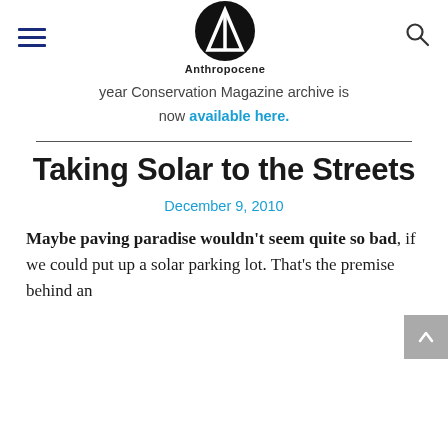Anthropocene
year Conservation Magazine archive is now available here.
Taking Solar to the Streets
December 9, 2010
Maybe paving paradise wouldn't seem quite so bad, if we could put up a solar parking lot. That's the premise behind an